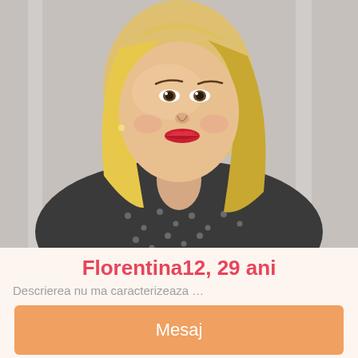[Figure (photo): Profile photo of a blonde woman wearing a black polka-dot jacket, smiling, with a blurred grey/white background]
Florentina12, 29 ani
Descrierea nu ma caracterizeaza …
Mesaj
[Figure (photo): Partial photo of a woman with dark hair wearing a teal scarf/jacket, standing outdoors near a body of water with urban structures in background]